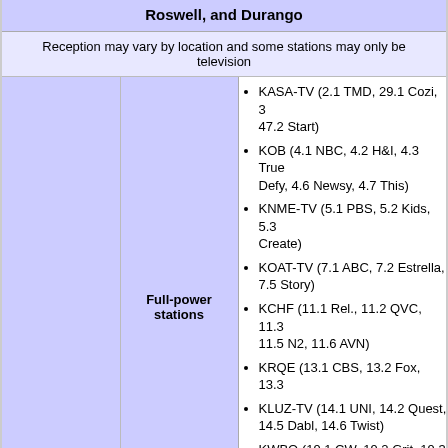Roswell, and Durango
Reception may vary by location and some stations may only be television
|  | Full-power stations | Stations list |
| --- | --- | --- |
|  | Full-power stations | KASA-TV (2.1 TMD, 29.1 Cozi, 3... 47.2 Start) |
|  |  | KOB (4.1 NBC, 4.2 H&I, 4.3 True... Defy, 4.6 Newsy, 4.7 This) |
|  |  | KNME-TV (5.1 PBS, 5.2 Kids, 5.3... Create) |
|  |  | KOAT-TV (7.1 ABC, 7.2 Estrella, ... 7.5 Story) |
|  |  | KCHF (11.1 Rel., 11.2 QVC, 11.3... 11.5 N2, 11.6 AVN) |
|  |  | KRQE (13.1 CBS, 13.2 Fox, 13.3...) |
|  |  | KLUZ-TV (14.1 UNI, 14.2 Quest, ... 14.5 Dabl, 14.6 Twist) |
|  |  | KWBQ (19.1 CW, 19.2 Grit, 19.3... Rewind) |
|  |  | KNAT-TV (23.1 TBN, 23.2 Hillson... Enlace, 23.5 Positiv) |